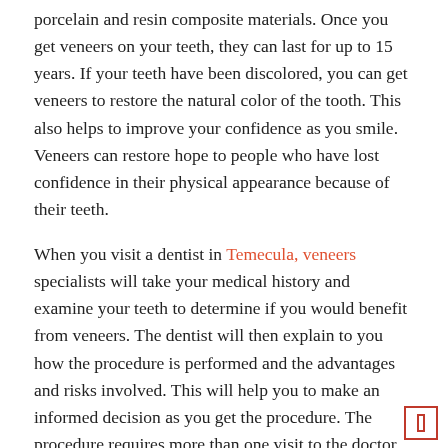porcelain and resin composite materials. Once you get veneers on your teeth, they can last for up to 15 years. If your teeth have been discolored, you can get veneers to restore the natural color of the tooth. This also helps to improve your confidence as you smile. Veneers can restore hope to people who have lost confidence in their physical appearance because of their teeth.
When you visit a dentist in Temecula, veneers specialists will take your medical history and examine your teeth to determine if you would benefit from veneers. The dentist will then explain to you how the procedure is performed and the advantages and risks involved. This will help you to make an informed decision as you get the procedure. The procedure requires more than one visit to the doctor, and therefore you will need to have patience and commitment.
What Are the Indications for